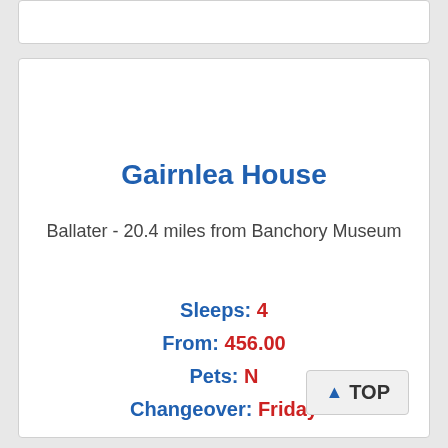Gairnlea House
Ballater - 20.4 miles from Banchory Museum
Sleeps: 4
From: 456.00
Pets: N
Changeover: Friday
TOP